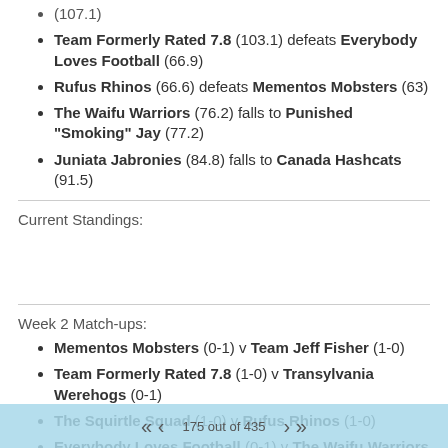(107.1)
Team Formerly Rated 7.8 (103.1) defeats Everybody Loves Football (66.9)
Rufus Rhinos (66.6) defeats Mementos Mobsters (63)
The Waifu Warriors (76.2) falls to Punished "Smoking" Jay (77.2)
Juniata Jabronies (84.8) falls to Canada Hashcats (91.5)
Current Standings:
Week 2 Match-ups:
Mementos Mobsters (0-1) v Team Jeff Fisher (1-0)
Team Formerly Rated 7.8 (1-0) v Transylvania Werehogs (0-1)
The Squirtle Squad (1-0) v Rufus Rhinos (1-0)
Everybody Loves Football (0-1) v The Waifu Warriors (0-1)
Punished "Smoking" Jay (1-0) v Juniata Jabronies (0-1)
Surprise Thunder (0-1) v Canada Hashcats (1-0)
175 out of 435